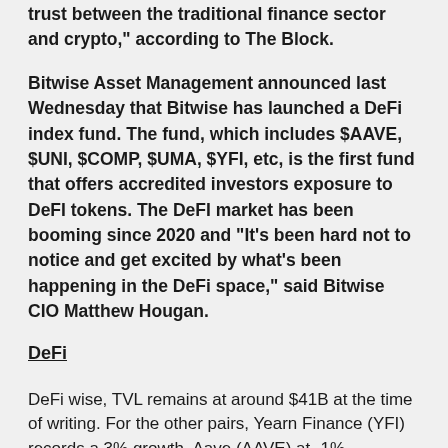trust between the traditional finance sector and crypto," according to The Block.
Bitwise Asset Management announced last Wednesday that Bitwise has launched a DeFi index fund. The fund, which includes $AAVE, $UNI, $COMP, $UMA, $YFI, etc, is the first fund that offers accredited investors exposure to DeFI tokens. The DeFI market has been booming since 2020 and "It's been hard not to notice and get excited by what's been happening in the DeFi space," said Bitwise CIO Matthew Hougan.
DeFi
DeFi wise, TVL remains at around $41B at the time of writing. For the other pairs, Yearn Finance (YFI) records a 3% growth, Aave (AAVE) at -1%, Compound (COMP) at -1%, Uniswap (UNI) at +47% and Chainlink (LINK) at +3%, just to name a few.
#happytrading